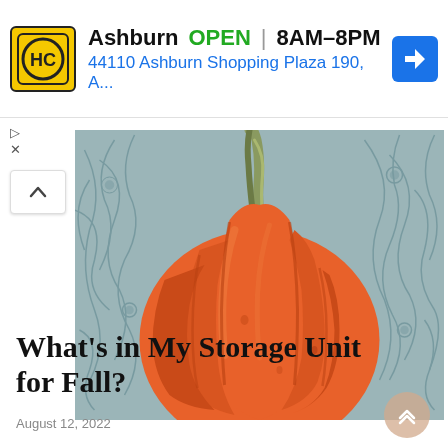[Figure (screenshot): Ad banner for Hecht's/HC store in Ashburn: HC logo (yellow square with black circle and HC text), store name 'Ashburn', green 'OPEN' label, hours '8AM–8PM', address '44110 Ashburn Shopping Plaza 190, A...' in blue, blue navigation arrow icon on right.]
[Figure (illustration): Botanical illustration of a large orange pumpkin with a tan/green stem against a blue-grey damask floral wallpaper background.]
What's in My Storage Unit for Fall?
August 12, 2022